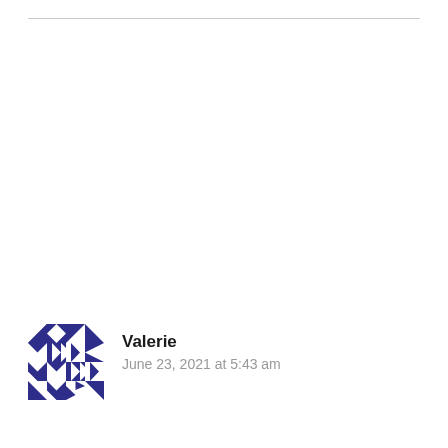[Figure (illustration): Decorative quilt-pattern avatar icon in dark navy/indigo blue and white, arranged in a 4x4 geometric block pattern]
Valerie
June 23, 2021 at 5:43 am